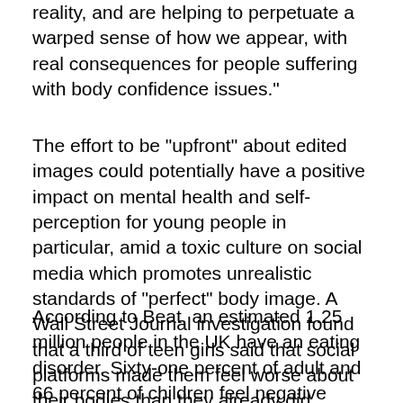reality, and are helping to perpetuate a warped sense of how we appear, with real consequences for people suffering with body confidence issues."
The effort to be "upfront" about edited images could potentially have a positive impact on mental health and self-perception for young people in particular, amid a toxic culture on social media which promotes unrealistic standards of "perfect" body image. A Wall Street Journal investigation found that a third of teen girls said that social platforms made them feel worse about their bodies than they already did.
According to Beat, an estimated 1.25 million people in the UK have an eating disorder. Sixty-one percent of adult and 66 percent of children feel negative about their bodies most of the time, according to a survey. The problem of diet culture and cosmetic surgery is not going to go away anytime soon with the ever-growing presence of social